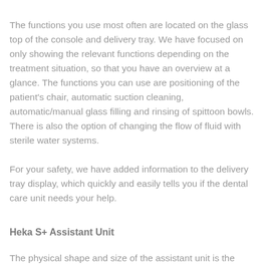The functions you use most often are located on the glass top of the console and delivery tray. We have focused on only showing the relevant functions depending on the treatment situation, so that you have an overview at a glance. The functions you can use are positioning of the patient's chair, automatic suction cleaning, automatic/manual glass filling and rinsing of spittoon bowls. There is also the option of changing the flow of fluid with sterile water systems.
For your safety, we have added information to the delivery tray display, which quickly and easily tells you if the dental care unit needs your help.
Heka S+ Assistant Unit
The physical shape and size of the assistant unit is the